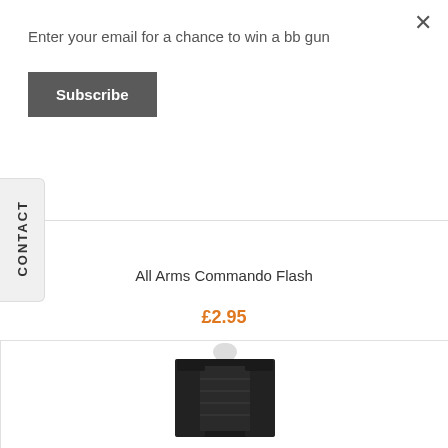Enter your email for a chance to win a bb gun
Subscribe
CONTACT
[Figure (photo): Product image of All Arms Commando Flash badge/patch on white background]
All Arms Commando Flash
£2.95
OUT OF STOCK
[Figure (photo): Product image showing a black tactical vest/harness on a mannequin]